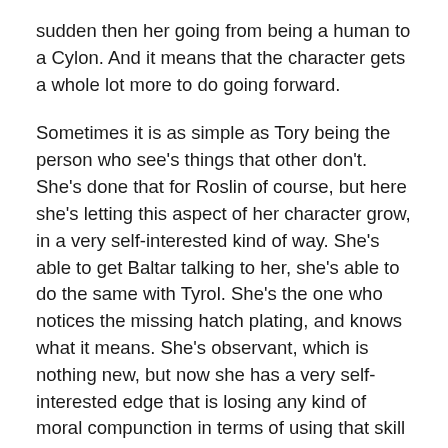sudden then her going from being a human to a Cylon. And it means that the character gets a whole lot more to do going forward.
Sometimes it is as simple as Tory being the person who see's things that other don't. She's done that for Roslin of course, but here she's letting this aspect of her character grow, in a very self-interested kind of way. She's able to get Baltar talking to her, she's able to do the same with Tyrol. She's the one who notices the missing hatch plating, and knows what it means. She's observant, which is nothing new, but now she has a very self-interested edge that is losing any kind of moral compunction in terms of using that skill at observation to get what she wants.
Hence her showdown with Cally. Tory exhibits a fairly masterful ability to manipulate Cally into doing what she